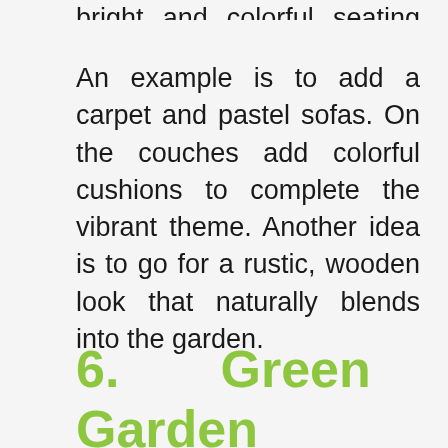bright and colorful seating areas
An example is to add a carpet and pastel sofas. On the couches add colorful cushions to complete the vibrant theme. Another idea is to go for a rustic, wooden look that naturally blends into the garden.
6.   Green   Boho Garden